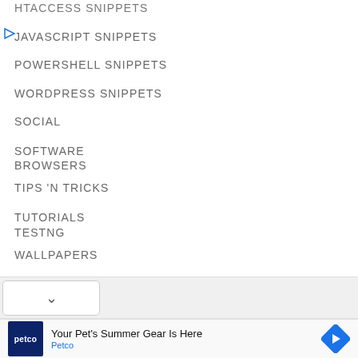HTACCESS SNIPPETS
JAVASCRIPT SNIPPETS
POWERSHELL SNIPPETS
WORDPRESS SNIPPETS
SOCIAL
SOFTWARE
BROWSERS
TIPS 'N TRICKS
TUTORIALS
TESTNG
WALLPAPERS
[Figure (screenshot): Dropdown chevron button on grey bar]
[Figure (screenshot): Petco advertisement banner: 'Your Pet's Summer Gear Is Here' with Petco logo and navigation icon]